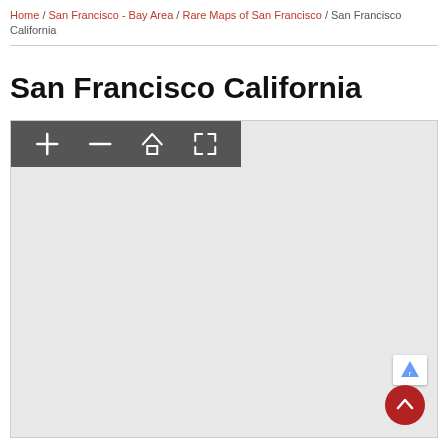Home / San Francisco - Bay Area / Rare Maps of San Francisco / San Francisco California
San Francisco California
[Figure (screenshot): Interactive map viewer with toolbar (zoom in, zoom out, home, fullscreen buttons) on a light grey background, showing an empty map canvas]